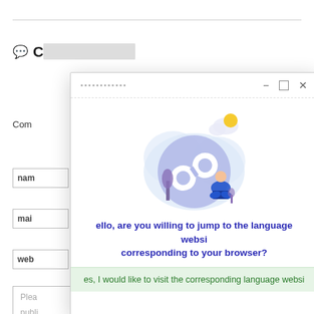💬 Comment area
Com
nam
mai
web
Plea
publi
[Figure (screenshot): A browser popup/dialog modal window with a broken link illustration and text asking 'Hello, are you willing to jump to the language website corresponding to your browser?' with a green answer bar saying 'Yes, I would like to visit the corresponding language website']
here.